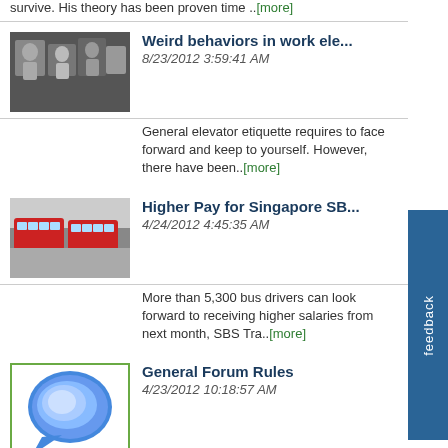survive. His theory has been proven time ..[more]
[Figure (photo): Group of people in formal setting, elevator scene]
Weird behaviors in work ele...
8/23/2012 3:59:41 AM
General elevator etiquette requires to face forward and keep to yourself. However, there have been..[more]
[Figure (photo): Red buses at a station, Singapore]
Higher Pay for Singapore SB...
4/24/2012 4:45:35 AM
More than 5,300 bus drivers can look forward to receiving higher salaries from next month, SBS Tra..[more]
[Figure (illustration): Blue speech bubble icon on white background with green border]
General Forum Rules
4/23/2012 10:18:57 AM
General Forum Rules: These rules apply to all Forum categories. We take the "Be Polite" rule v..[more]
View All ›
Advertisements